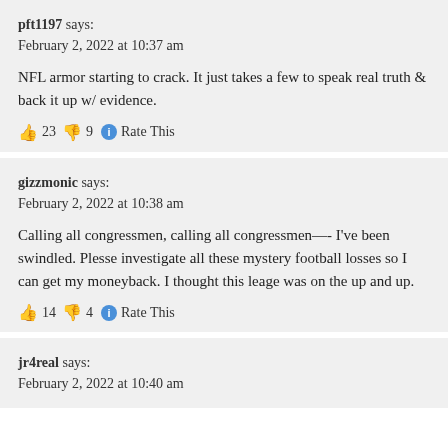pft1197 says:
February 2, 2022 at 10:37 am
NFL armor starting to crack. It just takes a few to speak real truth & back it up w/ evidence.
👍 23 👎 9 ℹ Rate This
gizzmonic says:
February 2, 2022 at 10:38 am
Calling all congressmen, calling all congressmen—- I've been swindled. Plesse investigate all these mystery football losses so I can get my moneyback. I thought this leage was on the up and up.
👍 14 👎 4 ℹ Rate This
jr4real says:
February 2, 2022 at 10:40 am